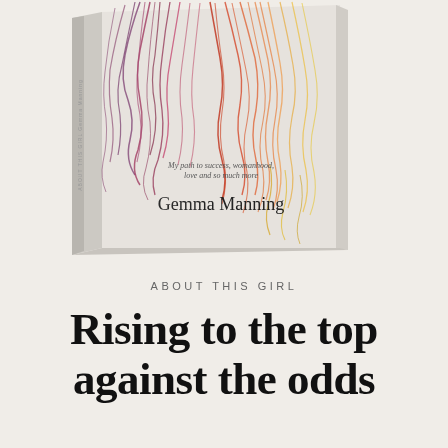[Figure (photo): A 3D rendered book titled 'About This Girl' by Gemma Manning. The book cover is light gray/beige with a colorful illustration of two sets of hair (purple/red and red/orange/yellow scribble-style). Below the hair illustration is the subtitle 'My path to success, womanhood, love and so much more' and the author name 'Gemma Manning'. The book is shown at an angle with its spine visible on the left.]
ABOUT THIS GIRL
Rising to the top against the odds